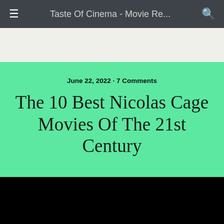Taste Of Cinema - Movie Re...
June 22, 2022 · 7 Comments
The 10 Best Nicolas Cage Movies Of The 21st Century
[Figure (photo): Black image area below the green title section]